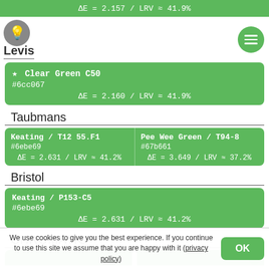ΔE = 2.157 / LRV ≈ 41.9%
Levis
[Figure (other): Levis brand logo circle and hamburger menu circle]
| ★ Clear Green C50 | #6cc067 | ΔE = 2.160 / LRV ≈ 41.9% |
Taubmans
| Keating / T12 55.F1 | #6ebe69 | ΔE = 2.631 / LRV ≈ 41.2% |
| Pee Wee Green / T94-8 | #67b661 | ΔE = 3.649 / LRV ≈ 37.2% |
Bristol
| Keating / P153-C5 | #6ebe69 | ΔE = 2.631 / LRV ≈ 41.2% |
CHROMATIC
We use cookies to give you the best experience. If you continue to use this site we assume that you are happy with it (privacy policy)
OK